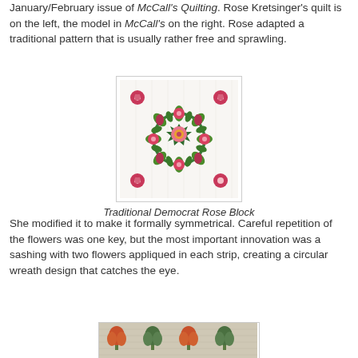January/February issue of McCall's Quilting. Rose Kretsinger's quilt is on the left, the model in McCall's on the right. Rose adapted a traditional pattern that is usually rather free and sprawling.
[Figure (photo): A quilt block showing a floral applique design called the Traditional Democrat Rose Block, with pink/red flowers and green leaves arranged symmetrically on a white background.]
Traditional Democrat Rose Block
She modified it to make it formally symmetrical. Careful repetition of the flowers was one key, but the most important innovation was a sashing with two flowers appliqued in each strip, creating a circular wreath design that catches the eye.
[Figure (photo): A partial view of a quilt showing tulip or flower applique designs in orange and green on a light background.]